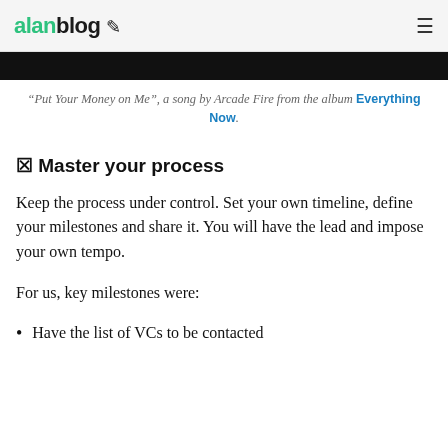alanblog
[Figure (photo): Dark/black image strip, partial image visible at top of content area]
“Put Your Money on Me”, a song by Arcade Fire from the album Everything Now.
💰 Master your process
Keep the process under control. Set your own timeline, define your milestones and share it. You will have the lead and impose your own tempo.
For us, key milestones were:
Have the list of VCs to be contacted